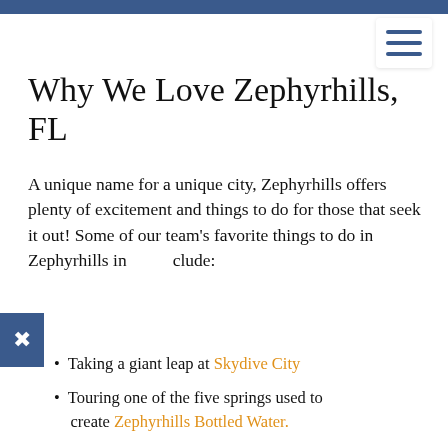Why We Love Zephyrhills, FL
A unique name for a unique city, Zephyrhills offers plenty of excitement and things to do for those that seek it out! Some of our team's favorite things to do in Zephyrhills include:
Taking a giant leap at Skydive City
Touring one of the five springs used to create Zephyrhills Bottled Water.
Getting inspired at the Museum of Military History.
Sampling hand-crafted draft beers at Zephyrhills Brewing Company.
Shooting pool (or attempting karaoke) at the Fried Penguin Bar